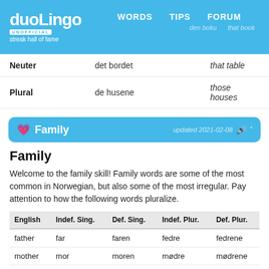duoLingo UNOFFICIAL streak hall of fame | WORDS | TIPS | FORUM
|  |  |  |
| --- | --- | --- |
| Neuter | det bordet | that table |
| Plural | de husene | those houses |
💗 Family   updated 2021-02-08
Family
Welcome to the family skill! Family words are some of the most common in Norwegian, but also some of the most irregular. Pay attention to how the following words pluralize.
| English | Indef. Sing. | Def. Sing. | Indef. Plur. | Def. Plur. |
| --- | --- | --- | --- | --- |
| father | far | faren | fedre | fedrene |
| mother | mor | moren | mødre | mødrene |
| brother | bror | broren | brødre | brødrene |